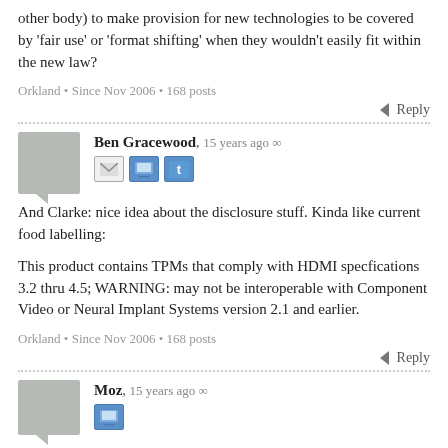other body) to make provision for new technologies to be covered by 'fair use' or 'format shifting' when they wouldn't easily fit within the new law?
Orkland • Since Nov 2006 • 168 posts
Reply
Ben Gracewood, 15 years ago ∞
And Clarke: nice idea about the disclosure stuff. Kinda like current food labelling:
This product contains TPMs that comply with HDMI specfications 3.2 thru 4.5; WARNING: may not be interoperable with Component Video or Neural Implant Systems version 2.1 and earlier.
Orkland • Since Nov 2006 • 168 posts
Reply
Moz, 15 years ago ∞